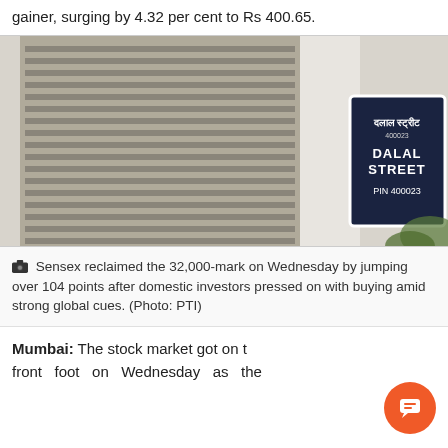gainer, surging by 4.32 per cent to Rs 400.65.
[Figure (photo): Photo of BSE building (tall skyscraper with horizontal fins) and Dalal Street sign board showing 'DALAL STREET PIN 400023' in English and Hindi, taken from a low angle.]
Sensex reclaimed the 32,000-mark on Wednesday by jumping over 104 points after domestic investors pressed on with buying amid strong global cues. (Photo: PTI)
Mumbai: The stock market got on the front foot on Wednesday as the